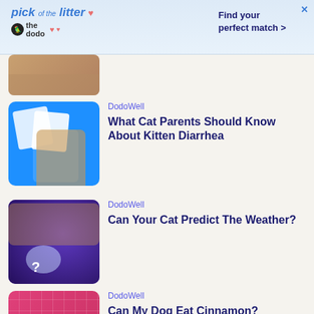[Figure (screenshot): Ad banner: 'pick of the litter' by The Dodo, with pet photos and text 'Find your perfect match >']
[Figure (photo): Partial thumbnail of a cat-related image, partially visible at top]
DodoWell
What Cat Parents Should Know About Kitten Diarrhea
[Figure (photo): Blue background image of a cat sitting in a litter box with toilet paper rolls]
DodoWell
Can Your Cat Predict The Weather?
[Figure (photo): Purple swirly background with a fluffy cat and a crystal ball with a question mark]
DodoWell
Can My Dog Eat Cinnamon?
[Figure (photo): Pink checkered background with a French bulldog puppy]